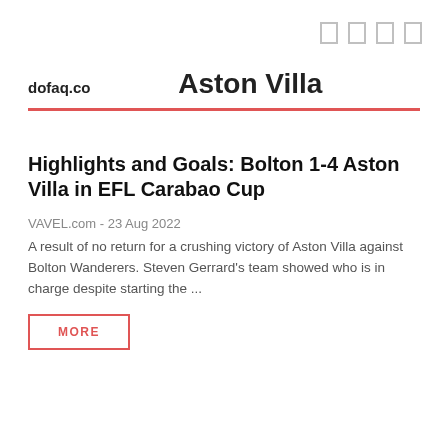dofaq.co   Aston Villa
Highlights and Goals: Bolton 1-4 Aston Villa in EFL Carabao Cup
VAVEL.com - 23 Aug 2022
A result of no return for a crushing victory of Aston Villa against Bolton Wanderers. Steven Gerrard's team showed who is in charge despite starting the ...
MORE